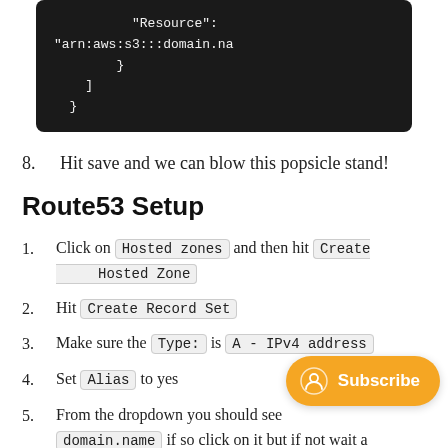[Figure (screenshot): Dark code block showing JSON snippet with Resource ARN, closing braces and bracket]
8. Hit save and we can blow this popsicle stand!
Route53 Setup
1. Click on Hosted zones and then hit Create Hosted Zone
2. Hit Create Record Set
3. Make sure the Type: is A - IPv4 address
4. Set Alias to yes
5. From the dropdown you should see domain.name if so click on it but if not wait a